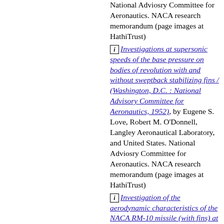National Adviosry Committee for Aeronautics. NACA research memorandum (page images at HathiTrust)
[i] Investigations at supersonic speeds of the base pressure on bodies of revolution with and without sweptback stabilizing fins / (Washington, D.C. : National Advisory Committee for Aeronautics, 1952), by Eugene S. Love, Robert M. O'Donnell, Langley Aeronautical Laboratory, and United States. National Adviosry Committee for Aeronautics. NACA research memorandum (page images at HathiTrust)
[i] Investigation of the aerodynamic characteristics of the NACA RM-10 missile (with fins) at a Mach number of 1.62 in the Langley 9-inch supersonic tunnel /